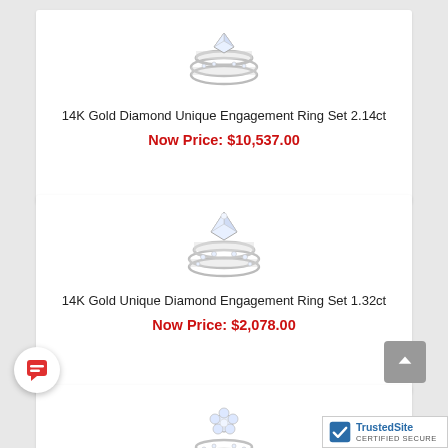[Figure (photo): Diamond engagement ring set with two stacked rings on white background]
14K Gold Diamond Unique Engagement Ring Set 2.14ct
Now Price: $10,537.00
[Figure (photo): 14K Gold unique diamond engagement ring set with double band]
14K Gold Unique Diamond Engagement Ring Set 1.32ct
Now Price: $2,078.00
[Figure (photo): 14K Gold unique designer diamond engagement ring set]
14K Gold Unique Designer Diamond Engagement R...